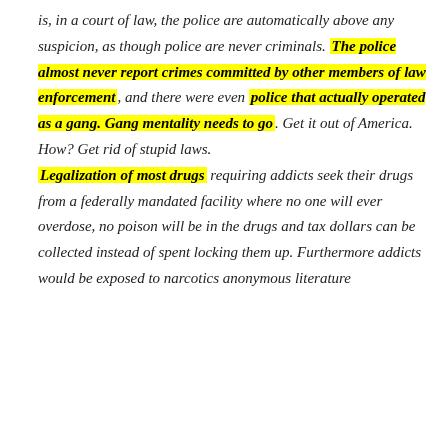is, in a court of law, the police are automatically above any suspicion, as though police are never criminals. The police almost never report crimes committed by other members of law enforcement, and there were even police that actually operated as a gang. Gang mentality needs to go. Get it out of America. How? Get rid of stupid laws. Legalization of most drugs requiring addicts seek their drugs from a federally mandated facility where no one will ever overdose, no poison will be in the drugs and tax dollars can be collected instead of spent locking them up. Furthermore addicts would be exposed to narcotics anonymous literature